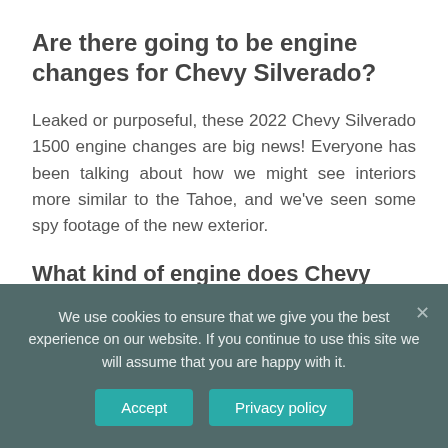Are there going to be engine changes for Chevy Silverado?
Leaked or purposeful, these 2022 Chevy Silverado 1500 engine changes are big news! Everyone has been talking about how we might see interiors more similar to the Tahoe, and we've seen some spy footage of the new exterior.
What kind of engine does Chevy Silverado 1500 have?
We use cookies to ensure that we give you the best experience on our website. If you continue to use this site we will assume that you are happy with it.